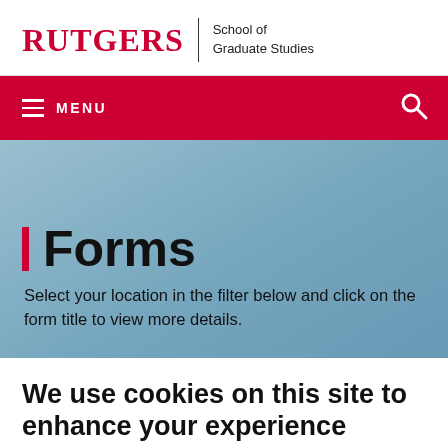RUTGERS | School of Graduate Studies
[Figure (screenshot): Rutgers red navigation bar with hamburger menu icon and MENU text on left, search magnifying glass icon on right]
Forms
Select your location in the filter below and click on the form title to view more details.
We use cookies on this site to enhance your experience